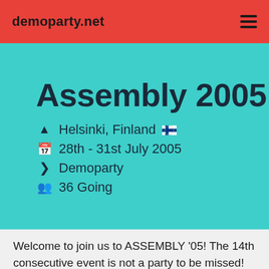demoparty.net
Assembly 2005
Helsinki, Finland 🇫🇮
28th - 31st July 2005
Demoparty
36 Going
Welcome to join us to ASSEMBLY '05! The 14th consecutive event is not a party to be missed! We offer you the best facilities in order for you to spend a memorable weekend in Helsinki: kickass partynet, huge video screens, pumping audio, 24h cafes, food, gaming,